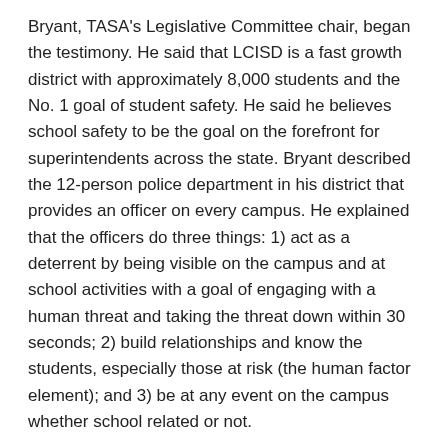Bryant, TASA's Legislative Committee chair, began the testimony. He said that LCISD is a fast growth district with approximately 8,000 students and the No. 1 goal of student safety. He said he believes school safety to be the goal on the forefront for superintendents across the state. Bryant described the 12-person police department in his district that provides an officer on every campus. He explained that the officers do three things: 1) act as a deterrent by being visible on the campus and at school activities with a goal of engaging with a human threat and taking the threat down within 30 seconds; 2) build relationships and know the students, especially those at risk (the human factor element); and 3) be at any event on the campus whether school related or not.
Bryant described other safety features/procedures including the expectation that classrooms always be locked, exterior doors are fobbed (electronic fob